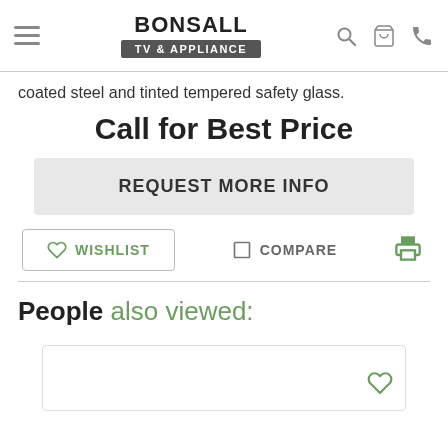BONSALL TV & APPLIANCE
coated steel and tinted tempered safety glass.
Call for Best Price
REQUEST MORE INFO
WISHLIST  COMPARE
People also viewed: